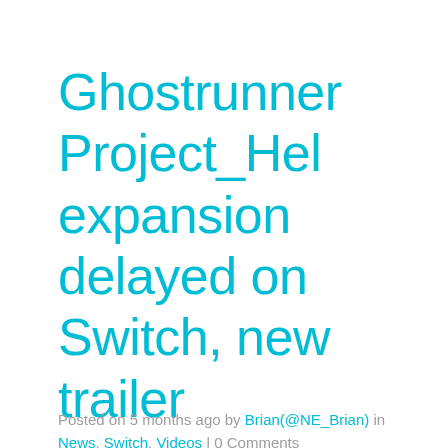Ghostrunner Project_Hel expansion delayed on Switch, new trailer
Posted on 5 months ago by Brian(@NE_Brian) in News, Switch, Videos | 0 Comments